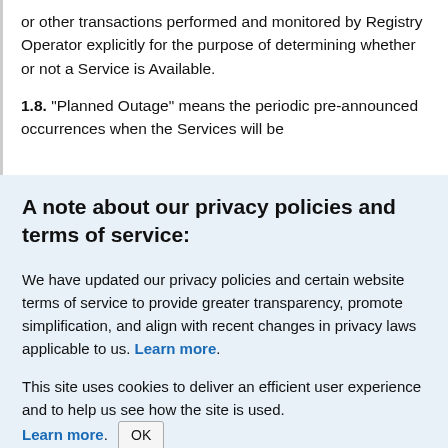or other transactions performed and monitored by Registry Operator explicitly for the purpose of determining whether or not a Service is Available.
1.8. "Planned Outage" means the periodic pre-announced occurrences when the Services will be
A note about our privacy policies and terms of service:
We have updated our privacy policies and certain website terms of service to provide greater transparency, promote simplification, and align with recent changes in privacy laws applicable to us. Learn more.
This site uses cookies to deliver an efficient user experience and to help us see how the site is used. Learn more. OK